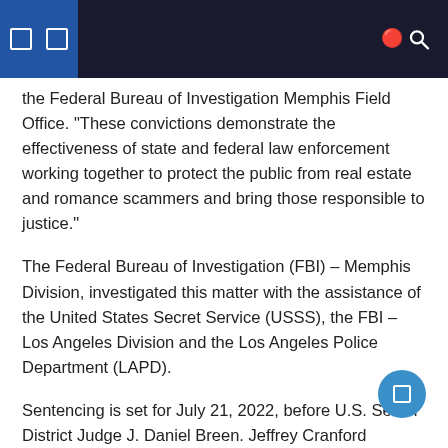the Federal Bureau of Investigation Memphis Field Office. “These convictions demonstrate the effectiveness of state and federal law enforcement working together to protect the public from real estate and romance scammers and bring those responsible to justice.”
The Federal Bureau of Investigation (FBI) – Memphis Division, investigated this matter with the assistance of the United States Secret Service (USSS), the FBI – Los Angeles Division and the Los Angeles Police Department (LAPD).
Sentencing is set for July 21, 2022, before U.S. Senior District Judge J. Daniel Breen. Jeffrey Cranford pleaded guilty to the scheme and is expected to be sentenced on May 5, 2022 before Judge J. Daniel Breen.
Assistant United States Attorneys Raney Irwin and Debra